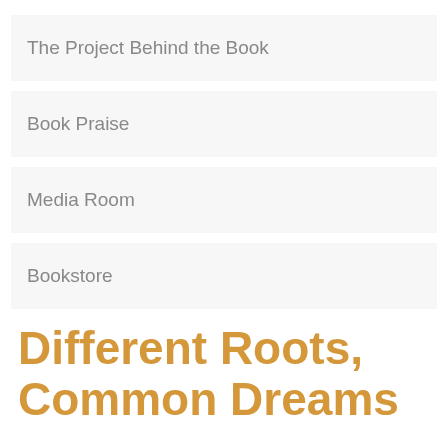The Project Behind the Book
Book Praise
Media Room
Bookstore
Different Roots, Common Dreams